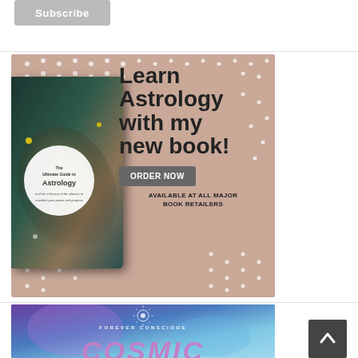[Figure (other): Gray Subscribe button at top of page]
[Figure (illustration): Astrology book advertisement on mauve/pink background. Book cover shown on left, text reads: Learn Astrology with my new book! ORDER NOW. Available at all major book retailers.]
[Figure (illustration): Forever Conscious cosmic themed banner ad with purple/blue galaxy background, showing FOREVER CONSCIOUS logo and partial COSMIC text at bottom]